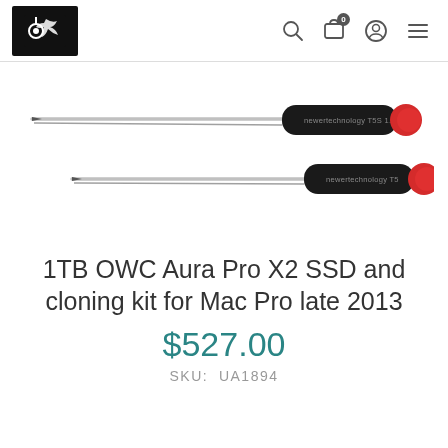newer technology — navigation header with logo, search, cart, account, menu icons
[Figure (photo): Two Newer Technology precision screwdrivers with black handles and red caps. Top one labeled 'newertechnology T5S 1.2mm', bottom one labeled 'newertechnology T5'. Both have thin silver shafts.]
1TB OWC Aura Pro X2 SSD and cloning kit for Mac Pro late 2013
$527.00
SKU:  UA1894